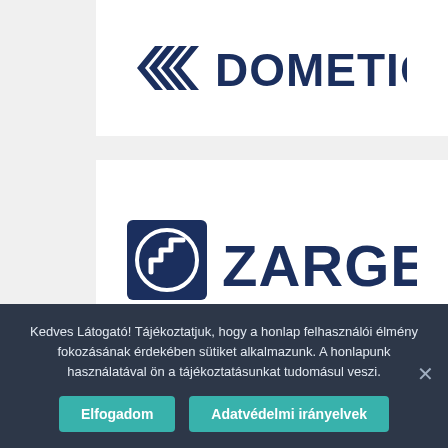[Figure (logo): Dometic logo: double chevron arrow icon followed by bold dark navy DOMETIC text]
[Figure (logo): Zarges logo: dark navy square with circular staircase/spiral icon, followed by bold dark navy ZARGES text]
Kedves Látogató! Tájékoztatjuk, hogy a honlap felhasználói élmény fokozásának érdekében sütiket alkalmazunk. A honlapunk használatával ön a tájékoztatásunkat tudomásul veszi.
Elfogadom
Adatvédelmi irányelvek